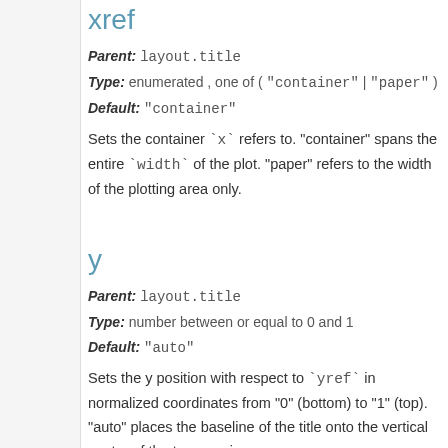xref
Parent: layout.title
Type: enumerated , one of ( "container" | "paper" )
Default: "container"
Sets the container `x` refers to. "container" spans the entire `width` of the plot. "paper" refers to the width of the plotting area only.
y
Parent: layout.title
Type: number between or equal to 0 and 1
Default: "auto"
Sets the y position with respect to `yref` in normalized coordinates from "0" (bottom) to "1" (top). "auto" places the baseline of the title onto the vertical center of the top margin.